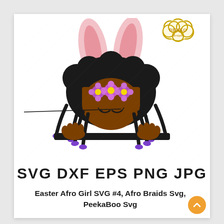[Figure (illustration): Peekaboo Afro girl with bunny ears, purple braids with purple hair ties, three purple/pink flowers with yellow centers on her head, brown skin, closed eyes with lashes, peeking over an edge with hands visible. Gold glitter cloud-shaped logo badge in top right corner reading DIDIKO designs.]
SVG DXF EPS PNG JPG
Easter Afro Girl SVG #4, Afro Braids Svg, PeekaBoo Svg